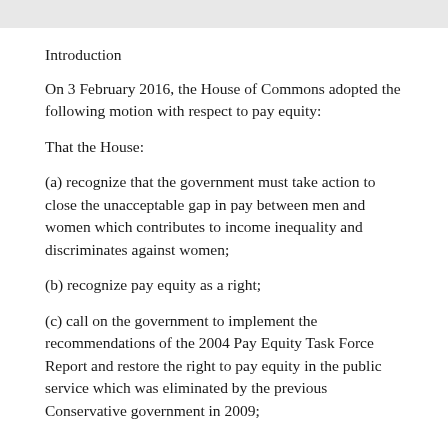Introduction
On 3 February 2016, the House of Commons adopted the following motion with respect to pay equity:
That the House:
(a) recognize that the government must take action to close the unacceptable gap in pay between men and women which contributes to income inequality and discriminates against women;
(b) recognize pay equity as a right;
(c) call on the government to implement the recommendations of the 2004 Pay Equity Task Force Report and restore the right to pay equity in the public service which was eliminated by the previous Conservative government in 2009;